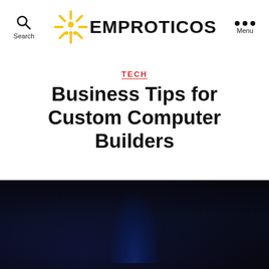EMPROTICOS
TECH
Business Tips for Custom Computer Builders
[Figure (photo): Dark background photo with a blue glowing light, likely showing a computer build or tech setup in a dark environment.]